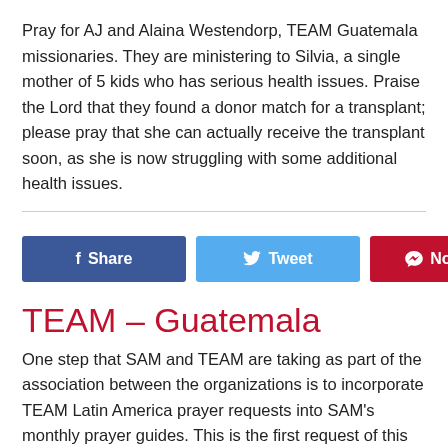Pray for AJ and Alaina Westendorp, TEAM Guatemala missionaries. They are ministering to Silvia, a single mother of 5 kids who has serious health issues. Praise the Lord that they found a donor match for a transplant; please pray that she can actually receive the transplant soon, as she is now struggling with some additional health issues.
[Figure (other): Social sharing buttons row: Facebook Share (dark blue), Tweet (light blue), No Comments (dark red/crimson)]
TEAM – Guatemala
One step that SAM and TEAM are taking as part of the association between the organizations is to incorporate TEAM Latin America prayer requests into SAM's monthly prayer guides. This is the first request of this sort, so please join us each month in praying for our TEAM co-laborers and their ministries.